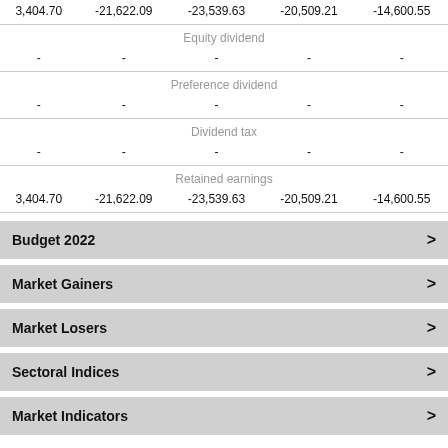| Col1 | Col2 | Col3 | Col4 | Col5 |
| --- | --- | --- | --- | --- |
| 3,404.70 | -21,622.09 | -23,539.63 | -20,509.21 | -14,600.55 |
| Equity dividend |  |  |  |  |
| - | - | - | - | - |
| Preference dividend |  |  |  |  |
| - | - | - | - | - |
| Dividend tax |  |  |  |  |
| - | - | - | - | - |
| Retained earnings |  |  |  |  |
| 3,404.70 | -21,622.09 | -23,539.63 | -20,509.21 | -14,600.55 |
Budget 2022 >
Market Gainers >
Market Losers >
Sectoral Indices >
Market Indicators >